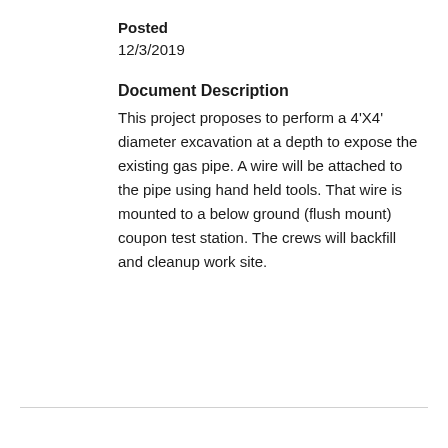Posted
12/3/2019
Document Description
This project proposes to perform a 4'X4' diameter excavation at a depth to expose the existing gas pipe. A wire will be attached to the pipe using hand held tools. That wire is mounted to a below ground (flush mount) coupon test station. The crews will backfill and cleanup work site.